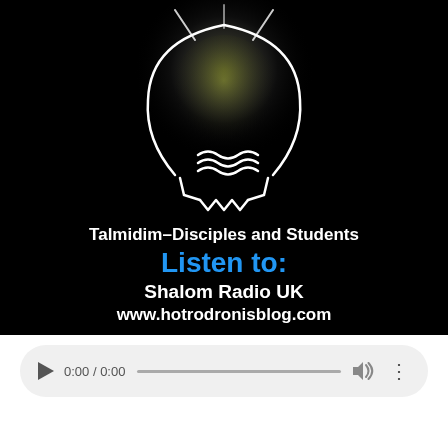[Figure (illustration): Black background with a glowing light bulb illustration made of white neon-style lines, with text overlay: 'Talmidim–Disciples and Students', 'Listen to:', 'Shalom Radio UK', 'www.hotrodronisblog.com'. An audio player bar is shown below with play button, time 0:00/0:00, progress bar, volume icon, and more options icon.]